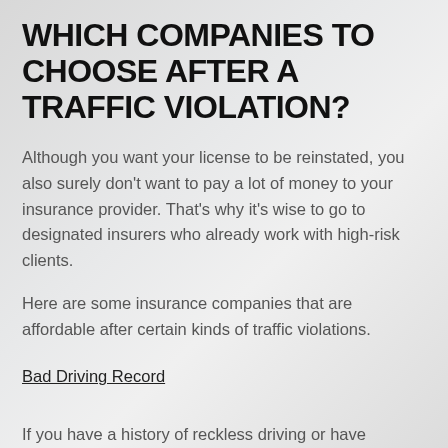WHICH COMPANIES TO CHOOSE AFTER A TRAFFIC VIOLATION?
Although you want your license to be reinstated, you also surely don't want to pay a lot of money to your insurance provider. That's why it's wise to go to designated insurers who already work with high-risk clients.
Here are some insurance companies that are affordable after certain kinds of traffic violations.
Bad Driving Record
If you have a history of reckless driving or have received